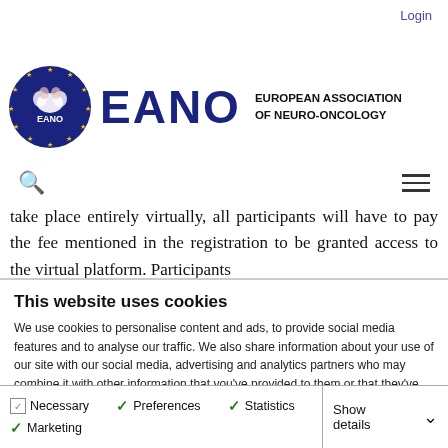Login
[Figure (logo): EANO European Association of Neuro-Oncology logo with circular emblem showing stars and brain]
take place entirely virtually, all participants will have to pay the fee mentioned in the registration to be granted access to the virtual platform. Participants
This website uses cookies
We use cookies to personalise content and ads, to provide social media features and to analyse our traffic. We also share information about your use of our site with our social media, advertising and analytics partners who may combine it with other information that you've provided to them or that they've collected from your use of their services. You consent to our cookies if you continue to use our website.
OK
| Necessary | Preferences | Statistics | Show details |
| Marketing |  |  |  |